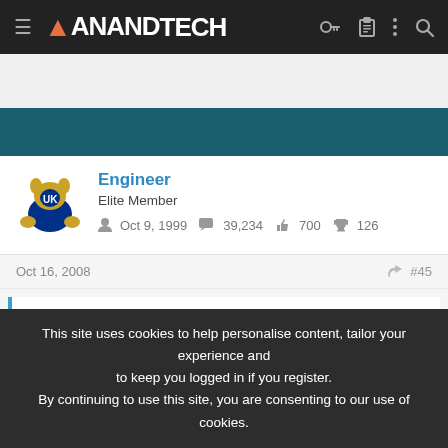AnandTech
[Figure (screenshot): Teal/dark blue banner strip]
Engineer
Elite Member
Oct 9, 1999   39,234   700   126
Oct 16, 2008   #45
Originally posted by: spidey07
This site uses cookies to help personalise content, tailor your experience and to keep you logged in if you register. By continuing to use this site, you are consenting to our use of cookies.